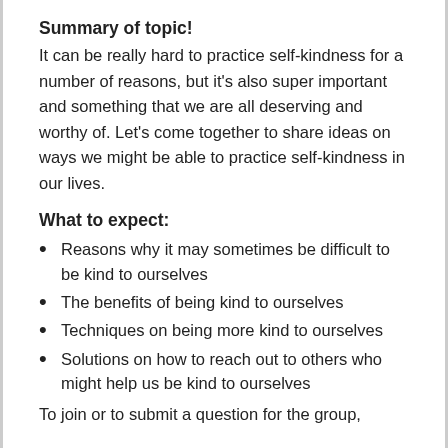Summary of topic!
It can be really hard to practice self-kindness for a number of reasons, but it's also super important and something that we are all deserving and worthy of. Let's come together to share ideas on ways we might be able to practice self-kindness in our lives.
What to expect:
Reasons why it may sometimes be difficult to be kind to ourselves
The benefits of being kind to ourselves
Techniques on being more kind to ourselves
Solutions on how to reach out to others who might help us be kind to ourselves
To join or to submit a question for the group,